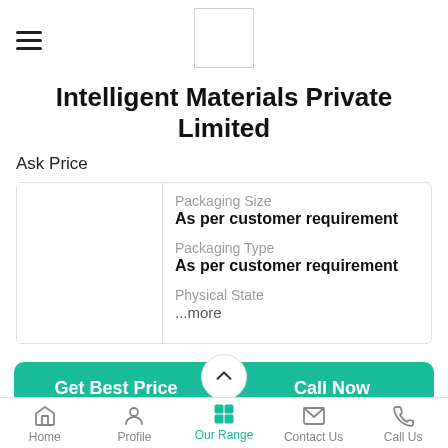Intelligent Materials Private Limited
Intelligent Materials Private Limited
Ask Price
| Label | Value |
| --- | --- |
| Packaging Size | As per customer requirement |
| Packaging Type | As per customer requirement |
| Physical State | ...more |
Get Best Price
Call Now
Home | Profile | Our Range | Contact Us | Call Us